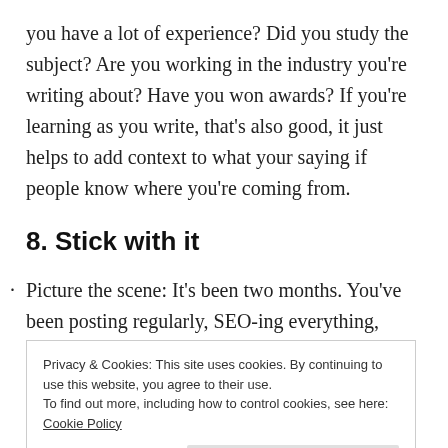you have a lot of experience? Did you study the subject? Are you working in the industry you're writing about? Have you won awards? If you're learning as you write, that's also good, it just helps to add context to what your saying if people know where you're coming from.
8. Stick with it
Picture the scene: It's been two months. You've been posting regularly, SEO-ing everything, writing high-
Privacy & Cookies: This site uses cookies. By continuing to use this website, you agree to their use.
To find out more, including how to control cookies, see here: Cookie Policy
Close and accept
struggling for followers, remember that Rome wasn't